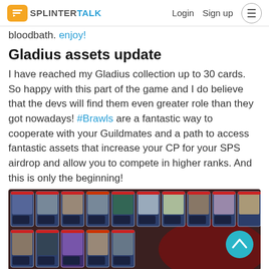SPLINTERTALK | Login  Sign up
bloodbath. enjoy!
Gladius assets update
I have reached my Gladius collection up to 30 cards. So happy with this part of the game and I do believe that the devs will find them even greater role than they got nowadays! #Brawls are a fantastic way to cooperate with your Guildmates and a path to access fantastic assets that increase your CP for your SPS airdrop and allow you to compete in higher ranks. And this is only the beginning!
[Figure (screenshot): Collection of Gladius card game cards displayed in two rows showing various fantasy/battle characters with colored borders and stats]